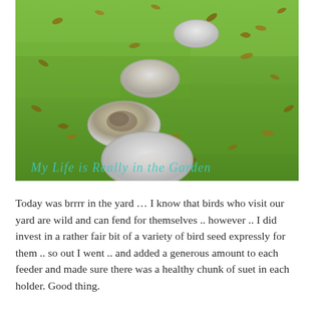[Figure (photo): Photograph of a green grass lawn with circular stepping stones (white/grey flat round stones) arranged in a diagonal path. Fallen brown leaves are scattered on the grass. A watermark in teal italic cursive text reads 'My Life is Really in the Garden' along the bottom of the image.]
Today was brrrr in the yard … I know that birds who visit our yard are wild and can fend for themselves .. however .. I did invest in a rather fair bit of a variety of bird seed expressly for them .. so out I went .. and added a generous amount to each feeder and made sure there was a healthy chunk of suet in each holder. Good thing.